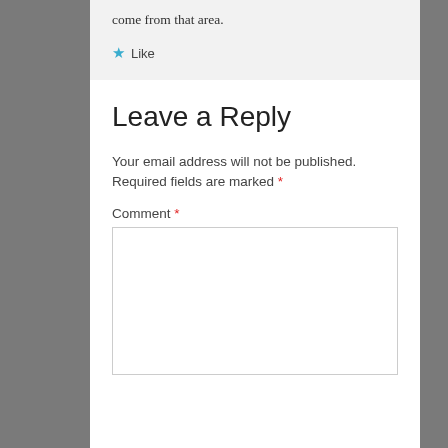come from that area.
★ Like
Leave a Reply
Your email address will not be published. Required fields are marked *
Comment *